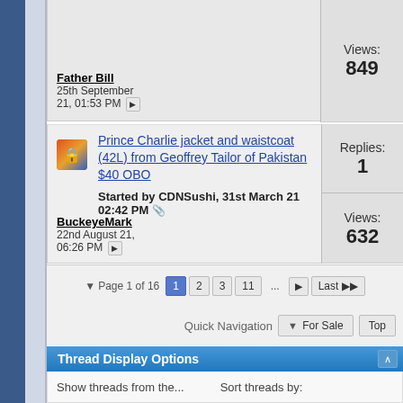Views: 849
Father Bill
25th September 21, 01:53 PM
Prince Charlie jacket and waistcoat (42L) from Geoffrey Tailor of Pakistan $40 OBO
Started by CDNSushi, 31st March 21 02:42 PM
Replies: 1
Views: 632
BuckeyeMark
22nd August 21, 06:26 PM
Page 1 of 16  1  2  3  11  ...  Last
Quick Navigation  For Sale  Top
Thread Display Options
Show threads from the...  Sort threads by: